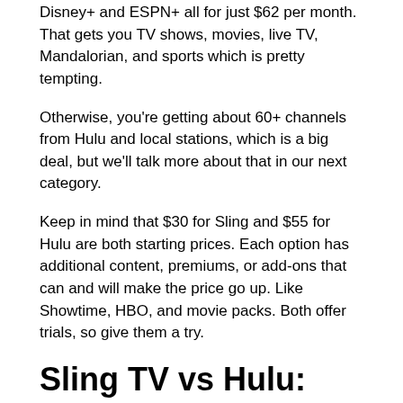Disney+ and ESPN+ all for just $62 per month. That gets you TV shows, movies, live TV, Mandalorian, and sports which is pretty tempting.
Otherwise, you're getting about 60+ channels from Hulu and local stations, which is a big deal, but we'll talk more about that in our next category.
Keep in mind that $30 for Sling and $55 for Hulu are both starting prices. Each option has additional content, premiums, or add-ons that can and will make the price go up. Like Showtime, HBO, and movie packs. Both offer trials, so give them a try.
Sling TV vs Hulu: Channels
Perhaps the most important aspect of this choice, aside from the price, are the channels. Sling's base package comes with 30+ channels so it's a great affordable option,